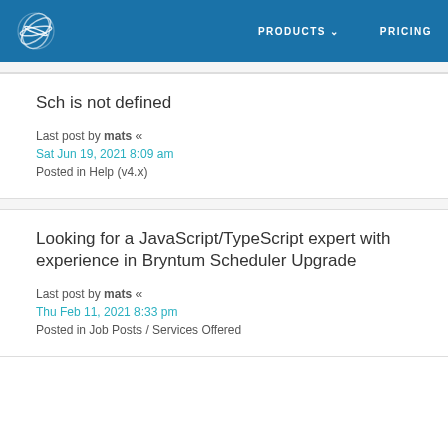PRODUCTS  PRICING
Sch is not defined
Last post by mats «
Sat Jun 19, 2021 8:09 am
Posted in Help (v4.x)
Looking for a JavaScript/TypeScript expert with experience in Bryntum Scheduler Upgrade
Last post by mats «
Thu Feb 11, 2021 8:33 pm
Posted in Job Posts / Services Offered